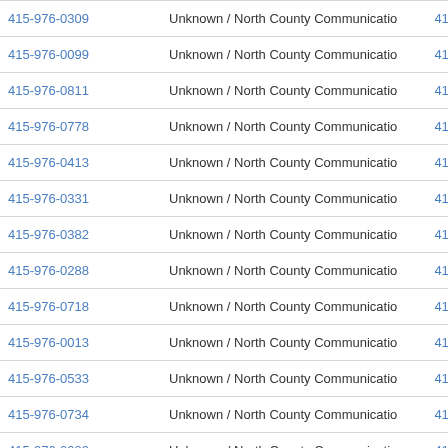| Phone | Carrier | Number |
| --- | --- | --- |
| 415-976-0309 | Unknown / North County Communications Corp. | 4159760 |
| 415-976-0099 | Unknown / North County Communications Corp. | 4159760 |
| 415-976-0811 | Unknown / North County Communications Corp. | 4159760 |
| 415-976-0778 | Unknown / North County Communications Corp. | 4159760 |
| 415-976-0413 | Unknown / North County Communications Corp. | 4159760 |
| 415-976-0331 | Unknown / North County Communications Corp. | 4159760 |
| 415-976-0382 | Unknown / North County Communications Corp. | 4159760 |
| 415-976-0288 | Unknown / North County Communications Corp. | 4159760 |
| 415-976-0718 | Unknown / North County Communications Corp. | 4159760 |
| 415-976-0013 | Unknown / North County Communications Corp. | 4159760 |
| 415-976-0533 | Unknown / North County Communications Corp. | 4159760 |
| 415-976-0734 | Unknown / North County Communications Corp. | 4159760 |
| 415-976-0002 | Unknown / North County Communications Corp. | 4159760 |
| 415-976-0810 | Unknown / North County Communications Corp. | 4159760 |
| 415-976-0130 | Unknown / North County Communications Corp. | 60 |
| 415-976-0383 | Unknown / North County Communications Corp. | ...9760 |
| 415-976-0321 | Unknown / North County Communications Corp. | 4159760 |
| 415-976-0890 | Unknown / North County Communications Corp. | 4159760 |